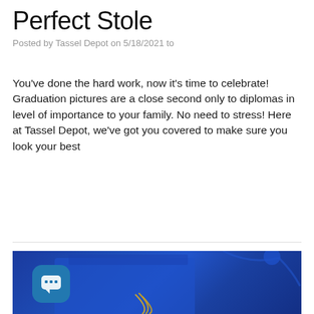Perfect Stole
Posted by Tassel Depot on 5/18/2021 to
You’ve done the hard work, now it’s time to celebrate! Graduation pictures are a close second only to diplomas in level of importance to your family. No need to stress! Here at Tassel Depot, we’ve got you covered to make sure you look your best
READ MORE
[Figure (photo): Blue graduation cap and tassel with gold/yellow tassel threads on a blue fabric background]